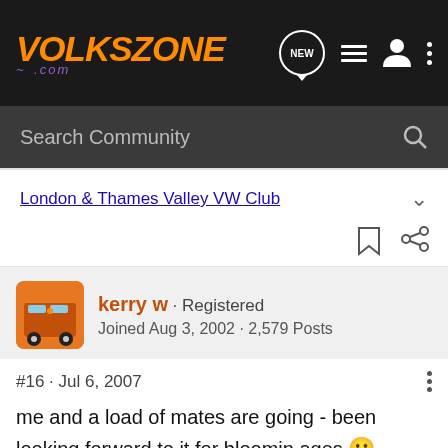VOLKSZONE .com
Search Community
London & Thames Valley VW Club
kerry w · Registered
Joined Aug 3, 2002 · 2,579 Posts
#16 · Jul 6, 2007
me and a load of mates are going - been looking forward to it for bloomin ages 😀
if you get the cycling bug the Tour of Britain is back in London in Sept. Some top riders usually compete so always worth going 🙂